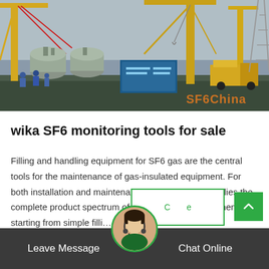[Figure (photo): Industrial construction site showing large transformers or electrical equipment being installed with yellow cranes, workers in blue hard hats, and an SF6China watermark in orange text at bottom right]
wika SF6 monitoring tools for sale
Filling and handling equipment for SF6 gas are the central tools for the maintenance of gas-insulated equipment. For both installation and maintenance, our company supplies the complete product spectrum of efficient service equipment, starting from simple filli…
Leave Message   Chat Online